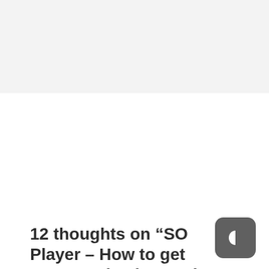[Figure (screenshot): White rectangle placeholder area at the top of the page on a light grey background]
12 thoughts on “SO Player – How to get FREE Activation Codes”